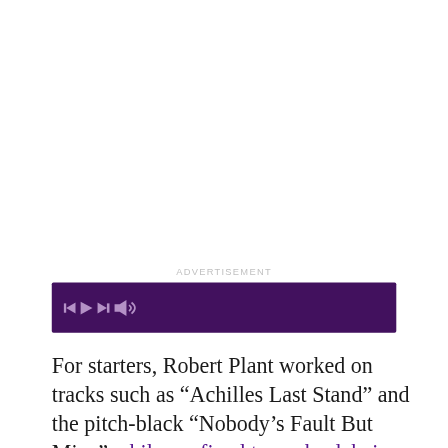ADVERTISEMENT
[Figure (other): Purple advertisement banner with media player icons (previous, play, next, and sound icon) on a dark purple background]
For starters, Robert Plant worked on tracks such as “Achilles Last Stand” and the pitch-black “Nobody’s Fault But Mine” while confined to a wheelchair. Indeed, at the time, doctors couldn’t be sure Plant would go back to walking without a limp.
But Zeppelin did manage to brighten the mood